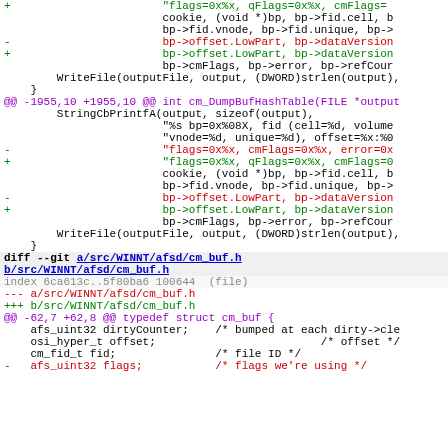[Figure (screenshot): Source code diff view showing git diff output for cm_buf.c and cm_buf.h files with added and removed lines highlighted in green and red respectively, hunk headers in purple, and diff headers in gray/bold.]